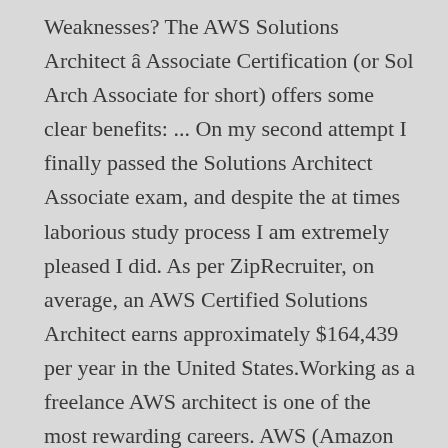Weaknesses? The AWS Solutions Architect â Associate Certification (or Sol Arch Associate for short) offers some clear benefits: ... On my second attempt I finally passed the Solutions Architect Associate exam, and despite the at times laborious study process I am extremely pleased I did. As per ZipRecruiter, on average, an AWS Certified Solutions Architect earns approximately $164,439 per year in the United States.Working as a freelance AWS architect is one of the most rewarding careers. AWS (Amazon Web Services) Certified Solutions Architect - Associate. The AWS Certified Solutions Architect - Associate examination is intended for individuals who perform a